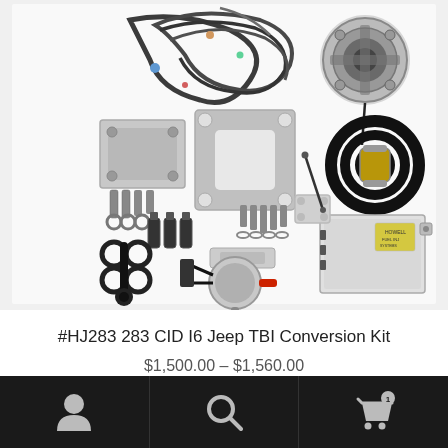[Figure (photo): Product photo of the #HJ283 283 CID I6 Jeep TBI Conversion Kit components laid out on a white background, including wiring harness, throttle body injector unit, mounting plates, hardware, fuel injectors, fuel filter, fuel pump, ECU control module, and various brackets and fittings.]
#HJ283 283 CID I6 Jeep TBI Conversion Kit
$1,500.00 – $1,560.00